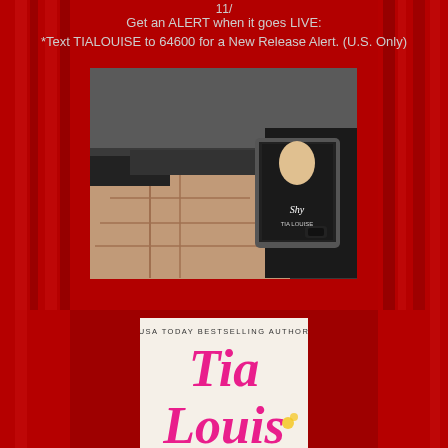11/
Get an ALERT when it goes LIVE:
*Text TIALOUISE to 64600 for a New Release Alert. (U.S. Only)
[Figure (photo): A shirtless muscular man lying down, with someone holding a tablet/e-reader displaying the book cover of 'Shy' by Tia Louise. Red theatrical curtains frame the background.]
[Figure (photo): Book cover of a Tia Louise book. Text reads 'USA TODAY BESTSELLING AUTHOR' at top, then 'Tia Louise' in large script lettering in pink/magenta color, with partial author name continuing below.]